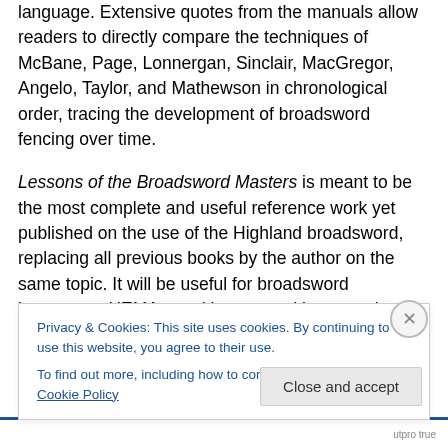language. Extensive quotes from the manuals allow readers to directly compare the techniques of McBane, Page, Lonnergan, Sinclair, MacGregor, Angelo, Taylor, and Mathewson in chronological order, tracing the development of broadsword fencing over time.
Lessons of the Broadsword Masters is meant to be the most complete and useful reference work yet published on the use of the Highland broadsword, replacing all previous books by the author on the same topic. It will be useful for broadsword instructors, HEMA practitioners, and interested martial artists of all styles.
Privacy & Cookies: This site uses cookies. By continuing to use this website, you agree to their use.
To find out more, including how to control cookies, see here: Cookie Policy